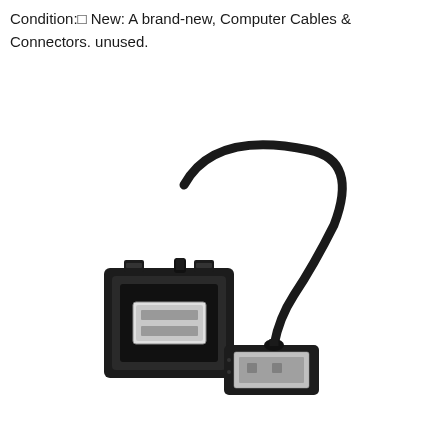Condition:  New: A brand-new, Computer Cables & Connectors. unused.
[Figure (photo): A USB extension cable/adapter with a panel-mount USB Type-A female socket on one end (rectangular black housing with clips) and a USB Type-A male plug on the other end, connected by a short black cable approximately 25cm long.]